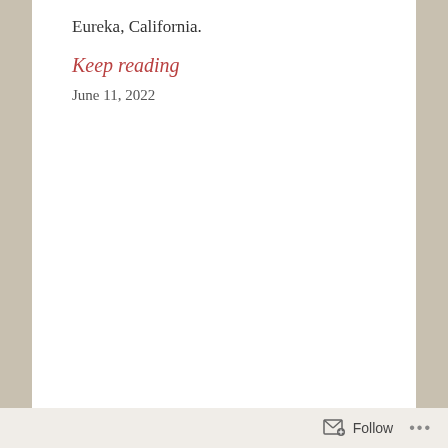Eureka, California.
Keep reading
June 11, 2022
Follow ...